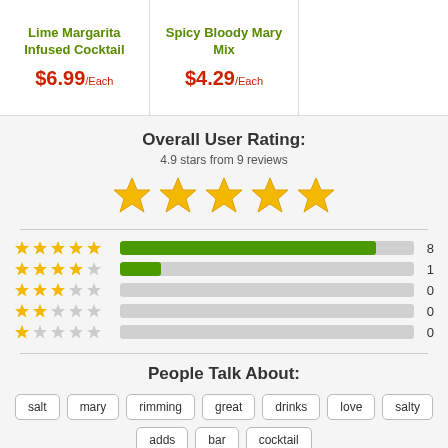Lime Margarita Infused Cocktail
$6.99/Each
Spicy Bloody Mary Mix
$4.29/Each
Overall User Rating:
4.9 stars from 9 reviews
[Figure (other): 5 filled yellow stars rating display]
[Figure (bar-chart): Rating breakdown]
People Talk About:
salt
mary
rimming
great
drinks
love
salty
adds
bar
cocktail